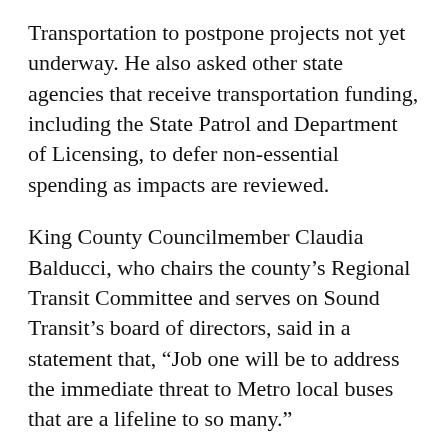Transportation to postpone projects not yet underway. He also asked other state agencies that receive transportation funding, including the State Patrol and Department of Licensing, to defer non-essential spending as impacts are reviewed.
King County Councilmember Claudia Balducci, who chairs the county's Regional Transit Committee and serves on Sound Transit's board of directors, said in a statement that, “Job one will be to address the immediate threat to Metro local buses that are a lifeline to so many.”
Durkan said she’s working with the Seattle City Council to fill 2020 budget gaps while in Spokane, a majority of city council members said they are open to asking voters to reinstate an annual $20 car...